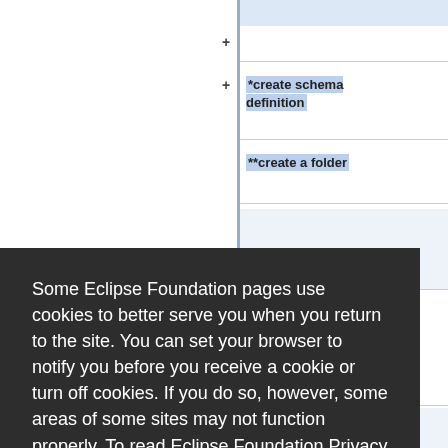[Figure (screenshot): Partial screenshot of a table/diagram with rows showing '+' symbols and highlighted text entries: '*create schema definition' and '**create a folder', partially obscured by cookie consent overlay.]
Some Eclipse Foundation pages use cookies to better serve you when you return to the site. You can set your browser to notify you before you receive a cookie or turn off cookies. If you do so, however, some areas of some sites may not function properly. To read Eclipse Foundation Privacy Policy click here.
Decline
Allow cookies